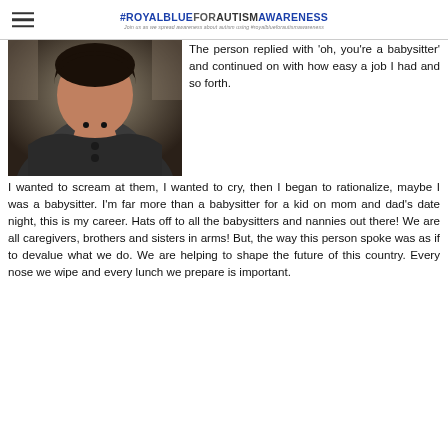#ROYALBLUEFORAUTISMAWARENESS — Join us as we spread awareness about autism using #royalblueforautismawareness
[Figure (photo): Selfie photo of a person wearing a dark jacket, taken inside a car]
The person replied with 'oh, you're a babysitter' and continued on with how easy a job I had and so forth. I wanted to scream at them, I wanted to cry, then I began to rationalize, maybe I was a babysitter. I'm far more than a babysitter for a kid on mom and dad's date night, this is my career. Hats off to all the babysitters and nannies out there! We are all caregivers, brothers and sisters in arms! But, the way this person spoke was as if to devalue what we do. We are helping to shape the future of this country. Every nose we wipe and every lunch we prepare is important.